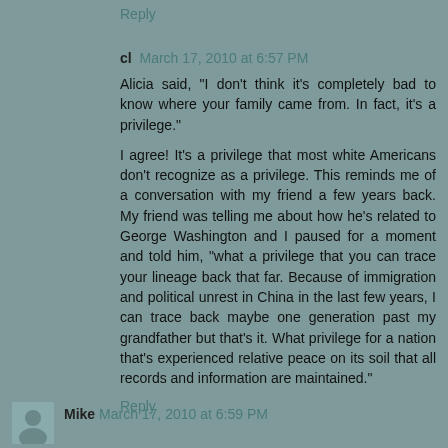Reply
cl  March 17, 2010 at 6:57 PM
Alicia said, "I don't think it's completely bad to know where your family came from. In fact, it's a privilege."
I agree! It's a privilege that most white Americans don't recognize as a privilege. This reminds me of a conversation with my friend a few years back. My friend was telling me about how he's related to George Washington and I paused for a moment and told him, "what a privilege that you can trace your lineage back that far. Because of immigration and political unrest in China in the last few years, I can trace back maybe one generation past my grandfather but that's it. What privilege for a nation that's experienced relative peace on its soil that all records and information are maintained."
Reply
Mike  March 17, 2010 at 6:59 PM